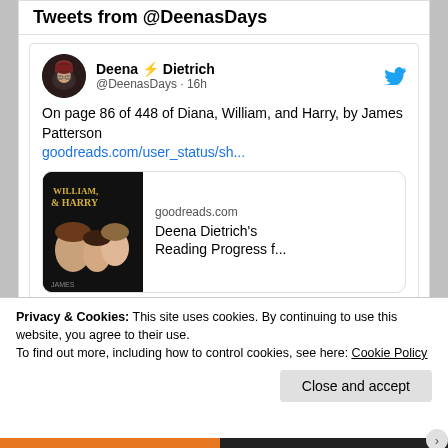Tweets from @DeenasDays
Deena ⚡ Dietrich @DeenasDays · 16h
On page 86 of 448 of Diana, William, and Harry, by James Patterson goodreads.com/user_status/sh...
[Figure (screenshot): Link preview showing book cover for Diana, William, & Harry with goodreads.com domain and title 'Deena Dietrich's Reading Progress f...']
Privacy & Cookies: This site uses cookies. By continuing to use this website, you agree to their use.
To find out more, including how to control cookies, see here: Cookie Policy
Close and accept